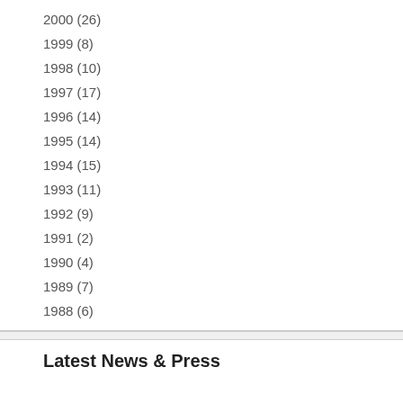2000 (26)
1999 (8)
1998 (10)
1997 (17)
1996 (14)
1995 (14)
1994 (15)
1993 (11)
1992 (9)
1991 (2)
1990 (4)
1989 (7)
1988 (6)
Latest News & Press